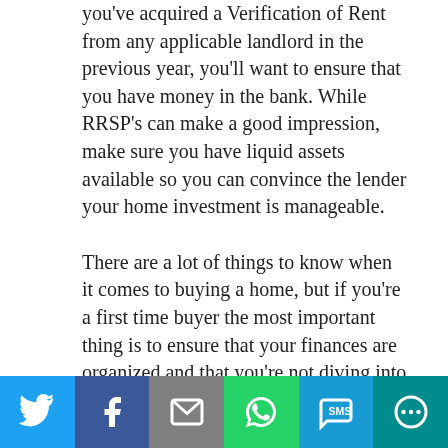you've acquired a Verification of Rent from any applicable landlord in the previous year, you'll want to ensure that you have money in the bank. While RRSP's can make a good impression, make sure you have liquid assets available so you can convince the lender your home investment is manageable.
There are a lot of things to know when it comes to buying a home, but if you're a first time buyer the most important thing is to ensure that your finances are organized and that you're not diving into more house than you can afford. By taking the time to determine your debt-to-income ratio and looking into your credit, you can ensure a positive first-time buying experience. If you're
[Figure (infographic): Social sharing bar with six buttons: Twitter (blue), Facebook (dark blue), Email (gray), WhatsApp (green), SMS (light blue), More/share (teal)]